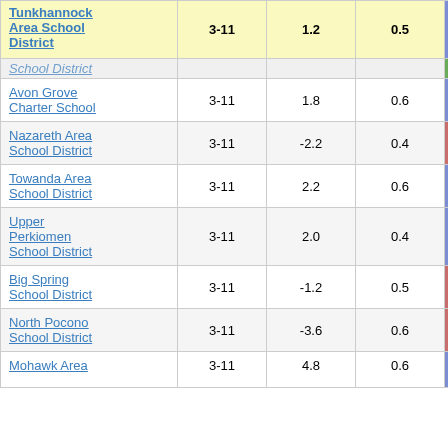| School/District | Grades | Col3 | Col4 | Score |
| --- | --- | --- | --- | --- |
| Tunkhannock Area School District | 3-11 | 1.2 | 0.5 | 2.30 |
| (truncated row) |  |  |  |  |
| Avon Grove Charter School | 3-11 | 1.8 | 0.6 | 3.34 |
| Nazareth Area School District | 3-11 | -2.2 | 0.4 | -5.78 |
| Towanda Area School District | 3-11 | 2.2 | 0.6 | 3.88 |
| Upper Perkiomen School District | 3-11 | 2.0 | 0.4 | 4.82 |
| Big Spring School District | 3-11 | -1.2 | 0.5 | -2.55 |
| North Pocono School District | 3-11 | -3.6 | 0.6 | -6.40 |
| Mohawk Area (truncated) | 3-11 | 4.8 | 0.6 | 3.10 |